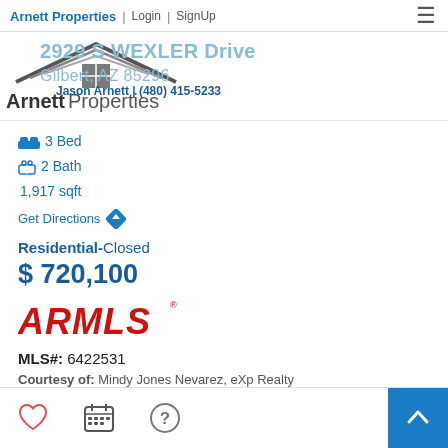Arnett Properties | Login | SignUp
[Figure (logo): Arnett Properties logo with house roof outline and grid window icon, text reads ArnettProperties]
Jason Arnett | (480) 415-5233
2929 S WEXLER Drive Gilbert, AZ 85296
3 Bed
2 Bath
1,917 sqft
Get Directions
Residential-Closed
$ 720,100
[Figure (logo): ARMLS logo in red bold letters with registered trademark symbol]
MLS#: 6422531
Courtesy of: Mindy Jones Nevarez, eXp Realty